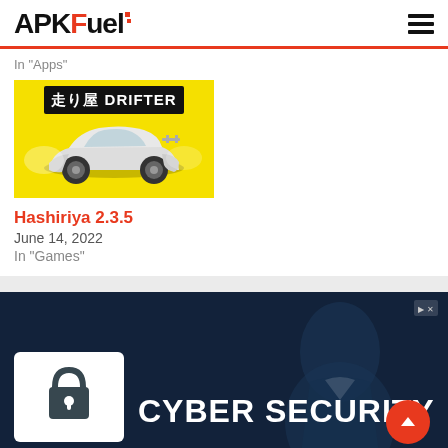APKFuel
In "Apps"
[Figure (screenshot): Hashiriya Drifter game thumbnail showing a white modified car with wide body kit on a yellow background with Japanese text and 'DRIFTER' text]
Hashiriya 2.3.5
June 14, 2022
In "Games"
[Figure (screenshot): Cyber Security advertisement banner with dark blue background, showing a padlock icon on white card, 'CYBER SECURITY' text in white, blurred person in suit in background, orange scroll-to-top button]